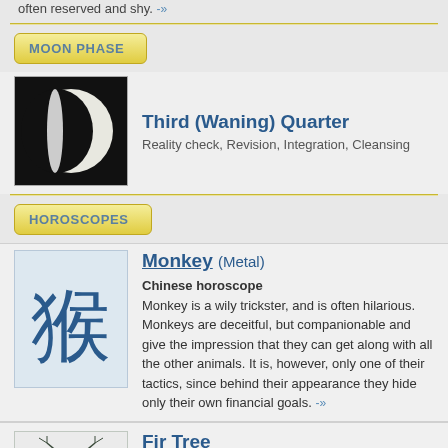often reserved and shy. -»
MOON PHASE
[Figure (illustration): Waning crescent/third quarter moon image — white crescent on black background]
Third (Waning) Quarter
Reality check, Revision, Integration, Cleansing
HOROSCOPES
[Figure (illustration): Chinese character for Monkey (猴) in blue ink on light blue-grey background]
Monkey (Metal)
Chinese horoscope
Monkey is a wily trickster, and is often hilarious. Monkeys are deceitful, but companionable and give the impression that they can get along with all the other animals. It is, however, only one of their tactics, since behind their appearance they hide only their own financial goals. -»
[Figure (illustration): Fir tree illustration — bare winter tree with branches, in dark blue/grey on light background]
Fir Tree
Celtic tree horoscope
The Fir people are very hardworking and talented